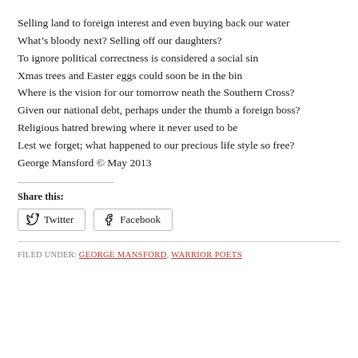Selling land to foreign interest and even buying back our water
What’s bloody next? Selling off our daughters?
To ignore political correctness is considered a social sin
Xmas trees and Easter eggs could soon be in the bin
Where is the vision for our tomorrow neath the Southern Cross?
Given our national debt, perhaps under the thumb a foreign boss?
Religious hatred brewing where it never used to be
Lest we forget; what happened to our precious life style so free?
George Mansford © May 2013
Share this:
Twitter  Facebook
FILED UNDER: GEORGE MANSFORD, WARRIOR POETS